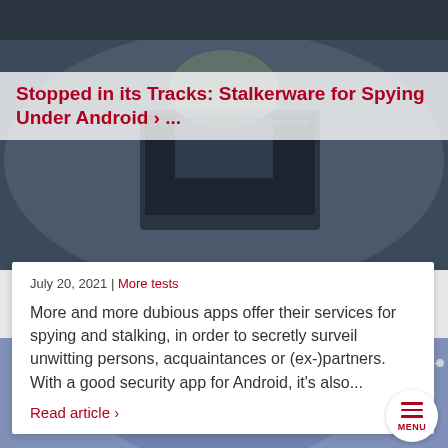[Figure (photo): Photo of a person working at a laptop/tablet, dark background, partially obscured]
Stopped in its Tracks: Stalkerware for Spying Under Android › ...
July 20, 2021 | More tests
More and more dubious apps offer their services for spying and stalking, in order to secretly surveil unwitting persons, acquaintances or (ex-)partners. With a good security app for Android, it's also...
Read article ›
[Figure (illustration): Network graph illustration with blue nodes and connecting lines on dark blue background]